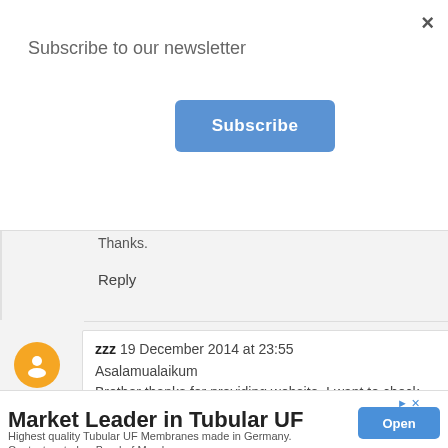×
Subscribe to our newsletter
Subscribe
Thanks.
Reply
zzz 19 December 2014 at 23:55
Asalamualaikum
Brother thanks for providing website. I want to check my status of visa which starts 701/2014
∨
▶ ×
Market Leader in Tubular UF
Highest quality Tubular UF Membranes made in Germany. Contact us today. Berghof Membranes
Open